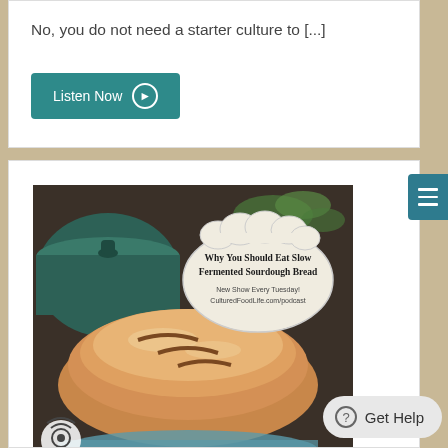No, you do not need a starter culture to [...]
Listen Now
[Figure (photo): Photo of a sourdough bread loaf with a dark green dutch oven in the background. Overlay text bubble reads: 'Why You Should Eat Slow Fermented Sourdough Bread / New Show Every Tuesday! CulturedFoodLife.com/podcast'. Podcast icon visible in bottom-left corner of image.]